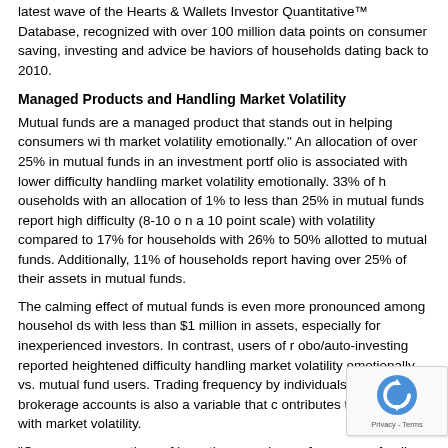latest wave of the Hearts & Wallets Investor Quantitative™ Database, recognized with over 100 million data points on consumer saving, investing and advice behaviors of households dating back to 2010.
Managed Products and Handling Market Volatility
Mutual funds are a managed product that stands out in helping consumers with market volatility emotionally. An allocation of over 25% in mutual funds in an investment portfolio is associated with lower difficulty handling market volatility emotionally. 33% of households with an allocation of 1% to less than 25% in mutual funds report high difficulty (8-10 on a 10 point scale) with volatility compared to 17% for households with 26% to 50% allotted to mutual funds. Additionally, 11% of households report having over 25% of their assets in mutual funds.
The calming effect of mutual funds is even more pronounced among households with less than $1 million in assets, especially for inexperienced investors. In contrast, users of robo/auto-investing reported heightened difficulty handling market volatility emotionally vs. mutual fund users. Trading frequency by individuals in online brokerage accounts is also a variable that contributes to difficulty with market volatility.
"Consumer perceptions of investing experience, frequency of online trading, and type of financial products all affect emotional response to market volatility," Laura Varas, CEO of Hearts & Wallets, said. "Firms need to understand their clients and explain the roles robos/auto-investing, ETFs and ETFs play within a firm's managed investment product line. Interestingly, ETFs do not have the same emotional benefit as mutual funds. This points to consumer volatility concerns about the value of fund managers being in charge and transparent performance reporting."